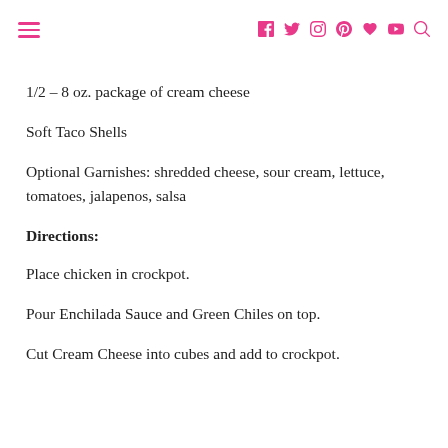≡  f  🐦  📷   pinterest  ♥  ▶  🔍
1/2 – 8 oz. package of cream cheese
Soft Taco Shells
Optional Garnishes: shredded cheese, sour cream, lettuce, tomatoes, jalapenos, salsa
Directions:
Place chicken in crockpot.
Pour Enchilada Sauce and Green Chiles on top.
Cut Cream Cheese into cubes and add to crockpot.